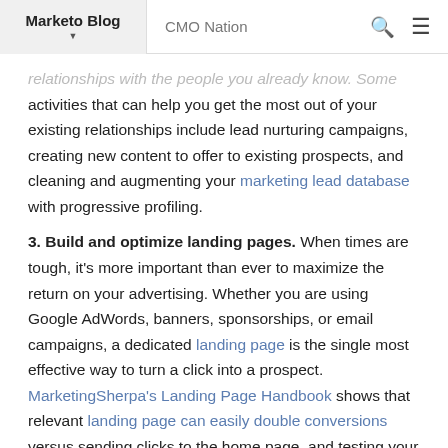Marketo Blog | CMO Nation
relationships with the people you already know. Some activities that can help you get the most out of your existing relationships include lead nurturing campaigns, creating new content to offer to existing prospects, and cleaning and augmenting your marketing lead database with progressive profiling.
3. Build and optimize landing pages. When times are tough, it's more important than ever to maximize the return on your advertising. Whether you are using Google AdWords, banners, sponsorships, or email campaigns, a dedicated landing page is the single most effective way to turn a click into a prospect. MarketingSherpa's Landing Page Handbook shows that relevant landing page can easily double conversions versus sending clicks to the home page, and testing your pages can